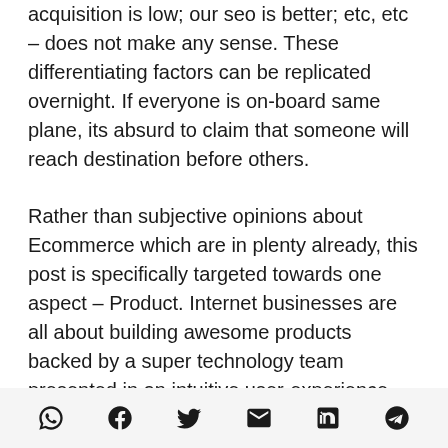acquisition is low; our seo is better; etc, etc – does not make any sense. These differentiating factors can be replicated overnight. If everyone is on-board same plane, its absurd to claim that someone will reach destination before others.
Rather than subjective opinions about Ecommerce which are in plenty already, this post is specifically targeted towards one aspect – Product. Internet businesses are all about building awesome products backed by a super technology team presented in an intuitive user-experience, nothing
Social share icons: WhatsApp, Facebook, Twitter, Email, LinkedIn, Telegram